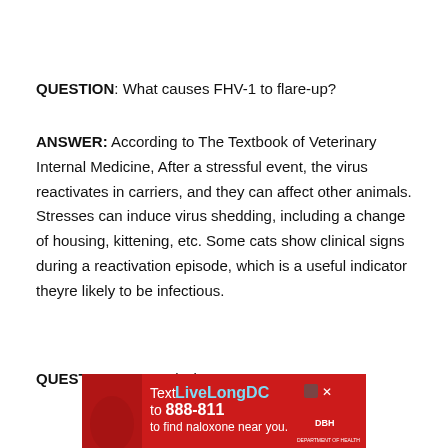QUESTION: What causes FHV-1 to flare-up?
ANSWER: According to The Textbook of Veterinary Internal Medicine, After a stressful event, the virus reactivates in carriers, and they can affect other animals. Stresses can induce virus shedding, including a change of housing, kittening, etc. Some cats show clinical signs during a reactivation episode, which is a useful indicator theyre likely to be infectious.
QUESTION: Does L-lysine suppress FHV-1?
[Figure (photo): Advertisement banner: Text LiveLongDC to 888-811 to find naloxone near you. Red background with white and cyan text, DBH logo.]